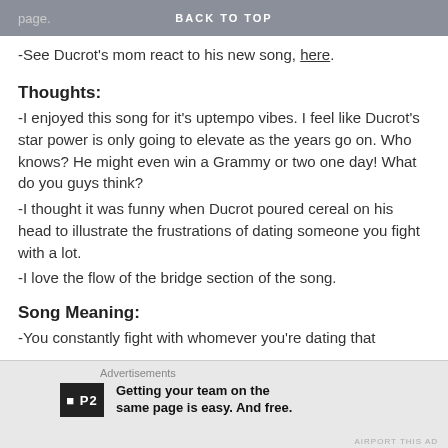BACK TO TOP
-See Ducrot's mom react to his new song, here.
Thoughts:
-I enjoyed this song for it's uptempo vibes. I feel like Ducrot's star power is only going to elevate as the years go on. Who knows? He might even win a Grammy or two one day! What do you guys think?
-I thought it was funny when Ducrot poured cereal on his head to illustrate the frustrations of dating someone you fight with a lot.
-I love the flow of the bridge section of the song.
Song Meaning:
-You constantly fight with whomever you're dating that
Advertisements
Getting your team on the same page is easy. And free.